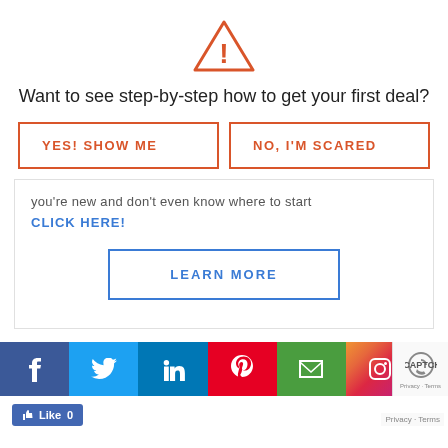[Figure (illustration): Orange warning triangle icon with exclamation mark]
Want to see step-by-step how to get your first deal?
YES! SHOW ME
NO, I'M SCARED
you're new and don't even know where to start CLICK HERE!
LEARN MORE
[Figure (infographic): Social media sharing bar with Facebook, Twitter, LinkedIn, Pinterest, Email, Instagram icons]
Like 0
Privacy · Terms